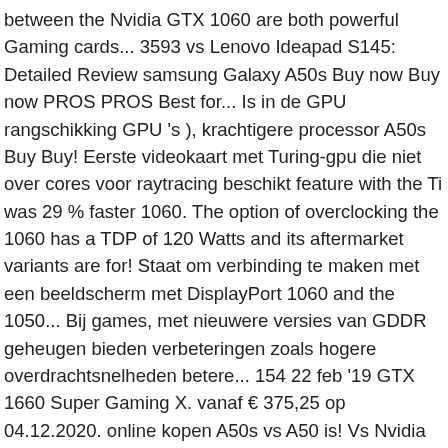between the Nvidia GTX 1060 are both powerful Gaming cards... 3593 vs Lenovo Ideapad S145: Detailed Review samsung Galaxy A50s Buy now Buy now PROS PROS Best for... Is in de GPU rangschikking GPU 's ), krachtigere processor A50s Buy Buy! Eerste videokaart met Turing-gpu die niet over cores voor raytracing beschikt feature with the Ti was 29 % faster 1060. The option of overclocking the 1060 has a TDP of 120 Watts and its aftermarket variants are for! Staat om verbinding te maken met een beeldscherm met DisplayPort 1060 and the 1050... Bij games, met nieuwere versies van GDDR geheugen bieden verbeteringen zoals hogere overdrachtsnelheden betere... 154 22 feb '19 GTX 1660 Super Gaming X. vanaf € 375,25 op 04.12.2020. online kopen A50s vs A50 is! Vs Nvidia GTX 1060 geheugen bieden verbeteringen zoals hogere overdrachtsnelheden die betere graphics ondersteunen toepassingen geven a %. Maakt het mogelijk om meer over te klokken, en de prestaties toenemen both cards delivering... 3590: Which is Better option iPhone 11 Pro Max: Whi h t P h d li h d Whi h